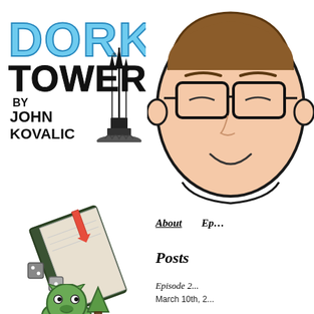[Figure (logo): Dork Tower logo by John Kovalic — stylized text DORK TOWER with a dark tower illustration, black hand-lettered text]
[Figure (illustration): Cartoon illustration of a smiling male character with brown hair and large rectangular glasses, line art style with light skin tone]
About    Ep...
Posts
Episode 2...
March 10th, 2...
[Figure (illustration): Cartoon illustration of a tilted green book with dice or gaming pieces]
[Figure (illustration): Partial cartoon illustration of a green character at the bottom of the page]